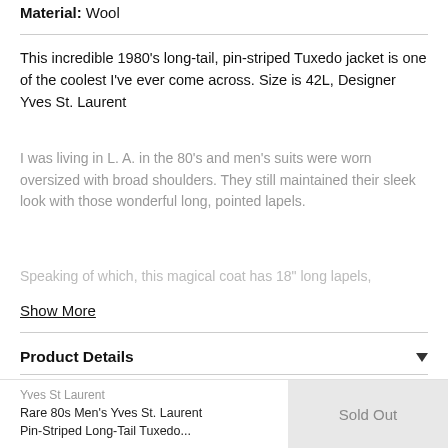Material: Wool
This incredible 1980's long-tail, pin-striped Tuxedo jacket is one of the coolest I've ever come across. Size is 42L, Designer Yves St. Laurent
I was living in L. A. in the 80's and men's suits were worn oversized with broad shoulders. They still maintained their sleek look with those wonderful long, pointed lapels.
Speaking of which, this magical coat has 18" long lapels,
Show More
Product Details
Shipping & Returns
Yves St Laurent
Rare 80s Men's Yves St. Laurent Pin-Striped Long-Tail Tuxedo...
Sold Out